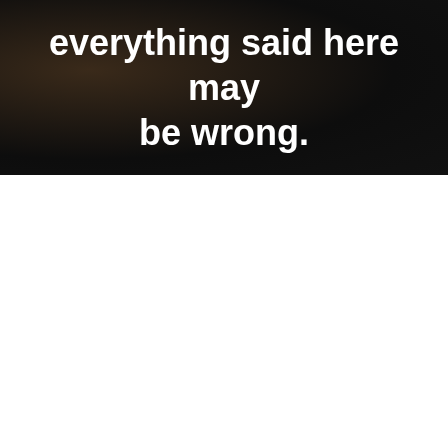[Figure (photo): Dark background image with text overlay]
everything said here may be wrong.
"Constantly Being
Privacy & Cookies: This site uses cookies. By continuing to use this website, you agree to their use.
To find out more, including how to control cookies, see here: Cookie Policy
Close and accept